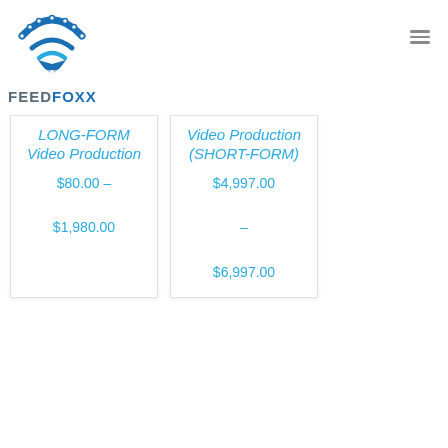[Figure (logo): FeedFoxx logo: stylized film strip curving like WiFi signal arcs above a fox face silhouette, with 'FEEDFOXX' text below in dark and blue]
LONG-FORM Video Production $80.00 – $1,980.00
Video Production (SHORT-FORM) $4,997.00 – $6,997.00